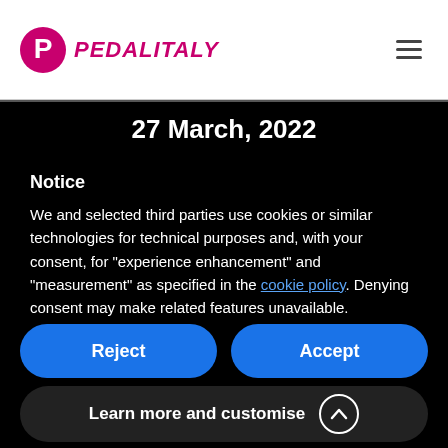PEDALITALY
27 March, 2022
Notice
We and selected third parties use cookies or similar technologies for technical purposes and, with your consent, for “experience enhancement” and “measurement” as specified in the cookie policy. Denying consent may make related features unavailable.
Reject
Accept
Learn more and customise